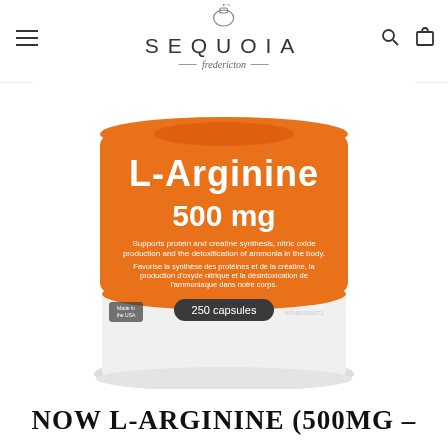SEQUOIA Fredericton
[Figure (photo): Close-up photo of a NOW Foods L-Arginine 500mg supplement bottle with an orange label showing 250 capsules, on a white background.]
NOW L-ARGININE (500MG –